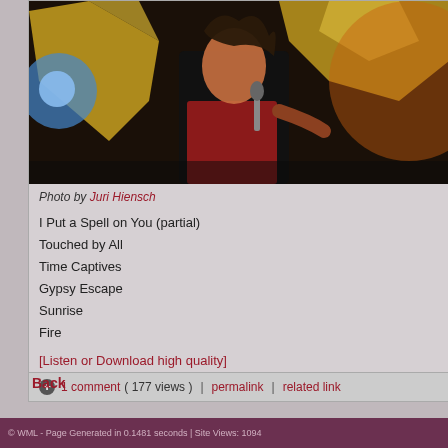[Figure (photo): Concert photo of a singer performing on stage with golden wing-like backdrop, dramatic lighting. Photo credit: Juri Hiensch.]
Photo by Juri Hiensch
I Put a Spell on You (partial)
Touched by All
Time Captives
Gypsy Escape
Sunrise
Fire
[Listen or Download high quality]
1 comment ( 177 views )   |   permalink   |   related link
Back
© WML - Page Generated in 0.1481 seconds | Site Views: 1094